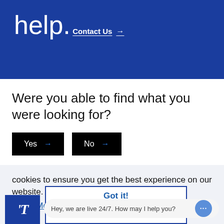help.
Contact Us →
Were you able to find what you were looking for?
Yes →
No →
cookies to ensure you get the best experience on our website.
Learn More
Got it!
Hey, we are live 24/7. How may I help you?